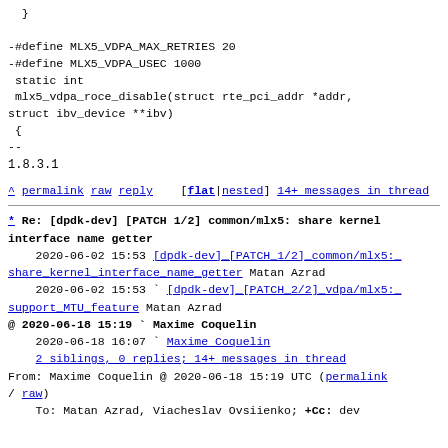}

-#define MLX5_VDPA_MAX_RETRIES 20
-#define MLX5_VDPA_USEC 1000
 static int
 mlx5_vdpa_roce_disable(struct rte_pci_addr *addr,
struct ibv_device **ibv)
 {
--
1.8.3.1
^ permalink raw reply   [flat|nested] 14+ messages in thread
* Re: [dpdk-dev] [PATCH 1/2] common/mlx5: share kernel interface name getter
    2020-06-02 15:53 [dpdk-dev] [PATCH 1/2] common/mlx5: share kernel interface name getter Matan Azrad
    2020-06-02 15:53 ` [dpdk-dev] [PATCH 2/2] vdpa/mlx5: support MTU feature Matan Azrad
@ 2020-06-18 15:19 ` Maxime Coquelin
    2020-06-18 16:07 ` Maxime Coquelin
    2 siblings, 0 replies; 14+ messages in thread
From: Maxime Coquelin @ 2020-06-18 15:19 UTC (permalink / raw)
    To: Matan Azrad, Viacheslav Ovsiienko; +Cc: dev